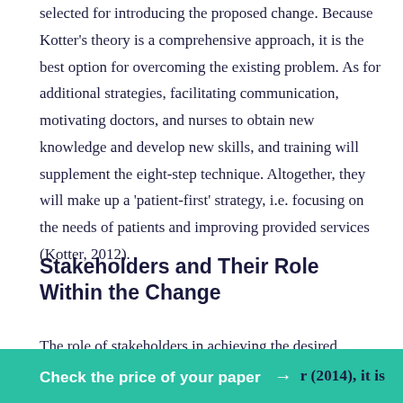selected for introducing the proposed change. Because Kotter's theory is a comprehensive approach, it is the best option for overcoming the existing problem. As for additional strategies, facilitating communication, motivating doctors, and nurses to obtain new knowledge and develop new skills, and training will supplement the eight-step technique. Altogether, they will make up a 'patient-first' strategy, i.e. focusing on the needs of patients and improving provided services (Kotter, 2012).
Stakeholders and Their Role Within the Change
The role of stakeholders in achieving the desired outcomes of the change project should not be underestimated. According to Preater (2014), it is
[Figure (other): Green call-to-action button bar at the bottom: 'Check the price of your paper →']